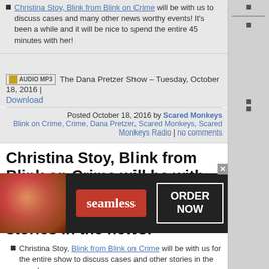Christina Stoy, Blink from Blink on Crime will be with us to discuss cases and many other news worthy events! It's been a while and it will be nice to spend the entire 45 minutes with her!
The Dana Pretzer Show – Tuesday, October 18, 2016 | Download
Posted October 18, 2016 by Scared Monkeys
Blink on Crime, Crime, Dana Pretzer, Scared Monkeys, Scared Monkeys Radio | no comments
Christina Stoy, Blink from Blink on Crime will be with us for the entire show to discuss cases and other stories in the news!
Christina Stoy, Blink from Blink on Crime will be with us for the entire show to discuss cases and other stories in the news!
[Figure (photo): Seamless food delivery advertisement banner with pizza image on left, red Seamless badge in center, and ORDER NOW box on right]